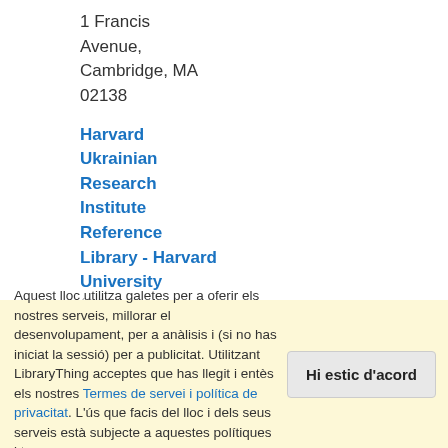1 Francis Avenue, Cambridge, MA 02138
Harvard Ukrainian Research Institute Reference Library - Harvard University (0.3 milles)
34 Kirkland Street, Cambridge, MA 02138
Aquest lloc utilitza galetes per a oferir els nostres serveis, millorar el desenvolupament, per a anàlisis i (si no has iniciat la sessió) per a publicitat. Utilitzant LibraryThing acceptes que has llegit i entès els nostres Termes de servei i política de privacitat. L'ús que facis del lloc i dels seus serveis està subjecte a aquestes polítiques i termes.